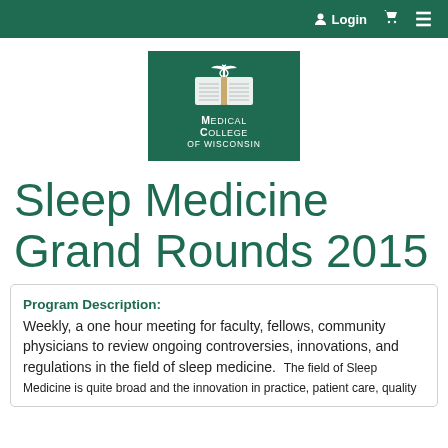Login [cart] [menu]
[Figure (logo): Medical College of Wisconsin logo — white open book with caduceus on dark green background, text reads MEDICAL COLLEGE OF WISCONSIN]
Sleep Medicine Grand Rounds 2015
Program Description:
Weekly, a one hour meeting for faculty, fellows, community physicians to review ongoing controversies, innovations, and regulations in the field of sleep medicine.  The field of Sleep Medicine is quite broad and the innovation in practice, patient care, quality